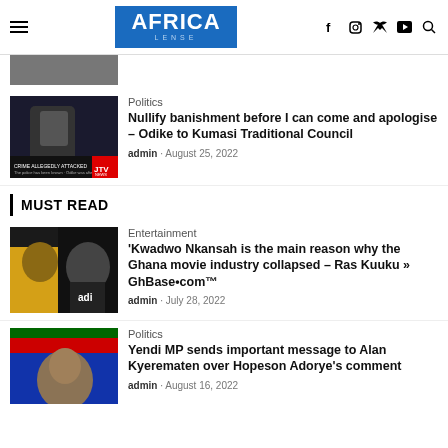AFRICA LENSE
[Figure (photo): Partial article image at top of page (cropped)]
Politics
Nullify banishment before I can come and apologise – Odike to Kumasi Traditional Council
admin · August 25, 2022
MUST READ
Entertainment
'Kwadwo Nkansah is the main reason why the Ghana movie industry collapsed – Ras Kuuku » GhBase•com™
admin · July 28, 2022
Politics
Yendi MP sends important message to Alan Kyerematen over Hopeson Adorye's comment
admin · August 16, 2022